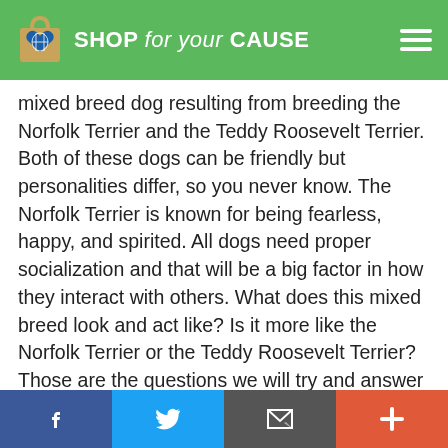SHOP for your CAUSE
mixed breed dog resulting from breeding the Norfolk Terrier and the Teddy Roosevelt Terrier. Both of these dogs can be friendly but personalities differ, so you never know. The Norfolk Terrier is known for being fearless, happy, and spirited. All dogs need proper socialization and that will be a big factor in how they interact with others. What does this mixed breed look and act like? Is it more like the Norfolk Terrier or the Teddy Roosevelt Terrier? Those are the questions we will try and answer below. Continue reading below to see pictures, videos, and learn more about the beautiful Norfolk Terrier Teddy
f  [twitter]  [email]  +